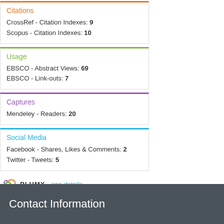Citations
CrossRef - Citation Indexes: 9
Scopus - Citation Indexes: 10
Usage
EBSCO - Abstract Views: 69
EBSCO - Link-outs: 7
Captures
Mendeley - Readers: 20
Social Media
Facebook - Shares, Likes & Comments: 2
Twitter - Tweets: 5
PLUMX - see details
Contact Information